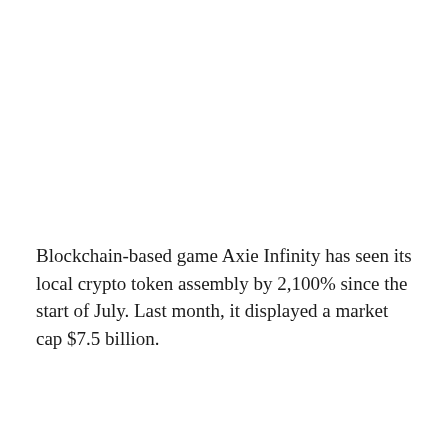Blockchain-based game Axie Infinity has seen its local crypto token assembly by 2,100% since the start of July. Last month, it displayed a market cap $7.5 billion.